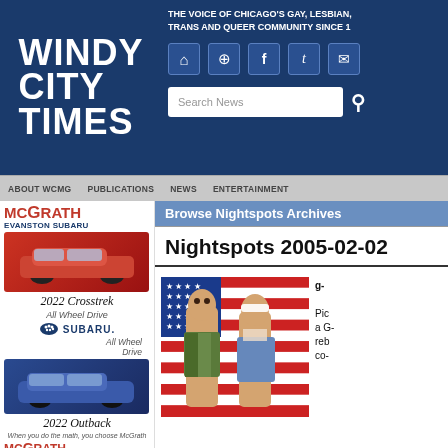Windy City Times — THE VOICE OF CHICAGO'S GAY, LESBIAN, TRANS AND QUEER COMMUNITY SINCE 1...
[Figure (screenshot): Windy City Times website header with logo, navigation icons (home, search, facebook, twitter, email), search bar, and navigation menu (ABOUT WCMG, PUBLICATIONS, NEWS, ENTERTAINMENT)]
[Figure (advertisement): McGrath Evanston Subaru advertisement featuring red 2022 Crosstrek All Wheel Drive and blue 2022 Outback All Wheel Drive with McGrath logo and tagline 'When you do the math, you choose McGrath']
Browse Nightspots Archives
Nightspots 2005-02-02
[Figure (photo): Two Barbie/Ken fashion dolls posed in front of an American flag background, wearing revealing outfits]
g-... Pic a G- reb co-